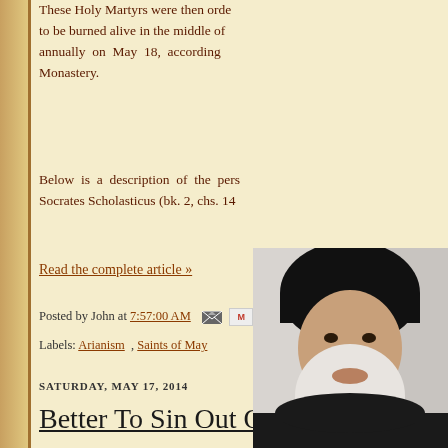These Holy Martyrs were then ordered to be burned alive in the middle of the annually on May 18, according to the Monastery.
Below is a description of the persecution by Socrates Scholasticus (bk. 2, chs. 14
Read the complete article »
Posted by John at 7:57:00 AM
Labels: Arianism , Saints of May
SATURDAY, MAY 17, 2014
Better To Sin Out Of Wea
[Figure (photo): Photograph of a bearded man wearing a black Orthodox Christian clerical hat (klobuk), with a white/grey beard, appears to be an Orthodox priest or bishop.]